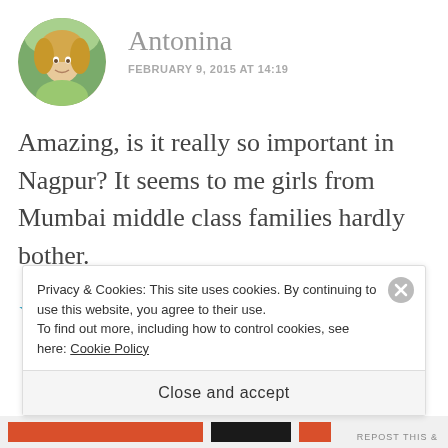[Figure (photo): Round avatar photo of a young blonde woman outdoors in a green top]
Antonina
FEBRUARY 9, 2015 AT 14:19
Amazing, is it really so important in Nagpur? It seems to me girls from Mumbai middle class families hardly bother.
Like
Privacy & Cookies: This site uses cookies. By continuing to use this website, you agree to their use.
To find out more, including how to control cookies, see here: Cookie Policy
Close and accept